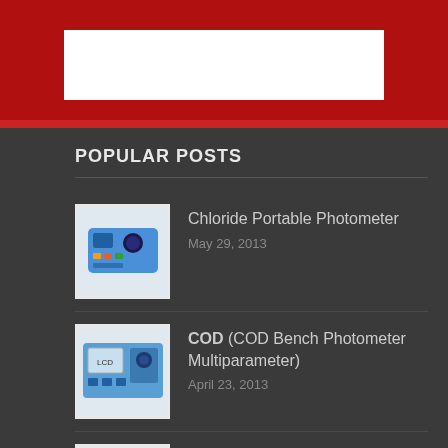[Figure (screenshot): Top banner with red background and white box]
POPULAR POSTS
[Figure (photo): Blue portable photometer device]
Chloride Portable Photometer
May 29, 2013
[Figure (photo): Blue bench photometer multiparameter device]
COD (COD Bench Photometer Multiparameter)
April 23, 2013
[Figure (photo): Black O-ring/glass ball on white background]
Glass Ball with O-ring
May 28, 2013
NEWS IN PICTURES